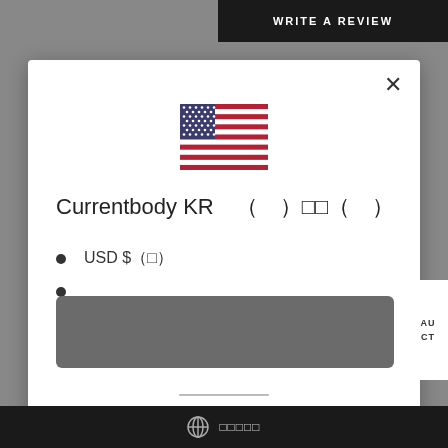WRITE A REVIEW
[Figure (illustration): US flag icon]
Currentbody KR （）□□（）
USD $（□）
[Figure (other): Gray button/action area]
🌐 □□□□□